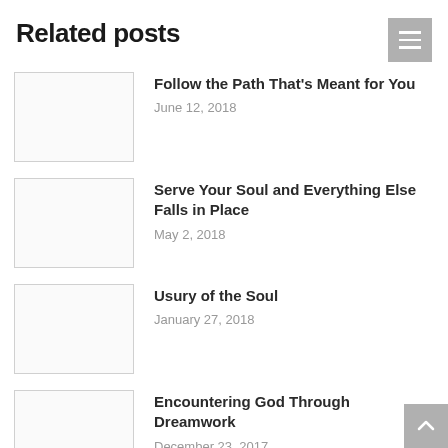Related posts
Follow the Path That’s Meant for You
June 12, 2018
Serve Your Soul and Everything Else Falls in Place
May 2, 2018
Usury of the Soul
January 27, 2018
Encountering God Through Dreamwork
December 23, 2017